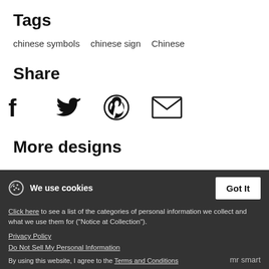Tags
chinese symbols   chinese sign   Chinese
Share
[Figure (illustration): Social share icons: Facebook, Twitter, Pinterest, Email]
More designs
We use cookies   Got It
Click here to see a list of the categories of personal information we collect and what we use them for ("Notice at Collection").
Privacy Policy
Do Not Sell My Personal Information
By using this website, I agree to the Terms and Conditions   mr smart